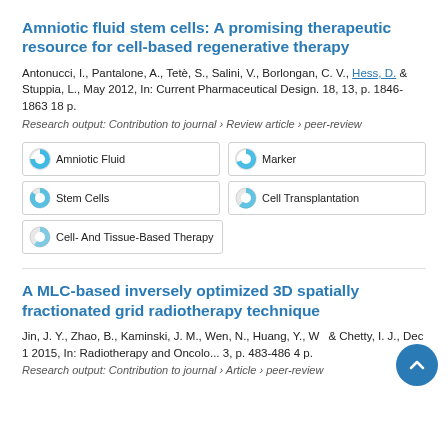Amniotic fluid stem cells: A promising therapeutic resource for cell-based regenerative therapy
Antonucci, I., Pantalone, A., Tetè, S., Salini, V., Borlongan, C. V., Hess, D. & Stuppia, L., May 2012, In: Current Pharmaceutical Design. 18, 13, p. 1846-1863 18 p.
Research output: Contribution to journal › Review article › peer-review
Amniotic Fluid
Marker
Stem Cells
Cell Transplantation
Cell- And Tissue-Based Therapy
A MLC-based inversely optimized 3D spatially fractionated grid radiotherapy technique
Jin, J. Y., Zhao, B., Kaminski, J. M., Wen, N., Huang, Y., W... & Chetty, I. J., Dec 1 2015, In: Radiotherapy and Oncolo... 3, p. 483-486 4 p.
Research output: Contribution to journal › Article › peer-review